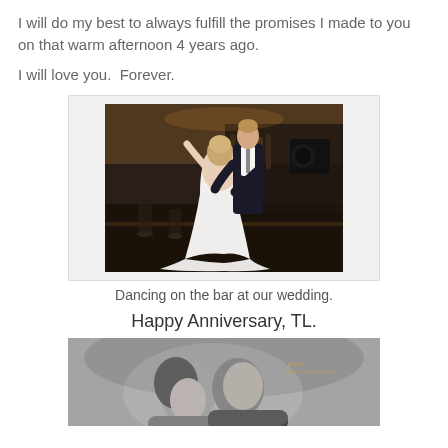I will do my best to always fulfill the promises I made to you on that warm afternoon 4 years ago.
I will love you.  Forever.
[Figure (photo): Wedding couple dancing on a bar; man in dark suit dipping woman in white mermaid wedding dress, indoor venue with bar visible in background]
Dancing on the bar at our wedding.
Happy Anniversary, TL.
[Figure (photo): Black and white close-up portrait of a couple, appears to be wedding or formal photo, with a photography watermark in the upper right corner]